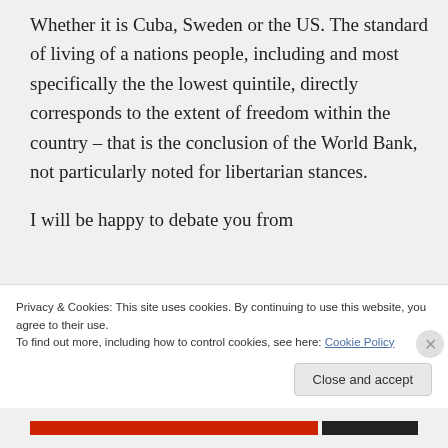Whether it is Cuba, Sweden or the US. The standard of living of a nations people, including and most specifically the the lowest quintile, directly corresponds to the extent of freedom within the country – that is the conclusion of the World Bank, not particularly noted for libertarian stances.

I will be happy to debate you from
Privacy & Cookies: This site uses cookies. By continuing to use this website, you agree to their use.
To find out more, including how to control cookies, see here: Cookie Policy